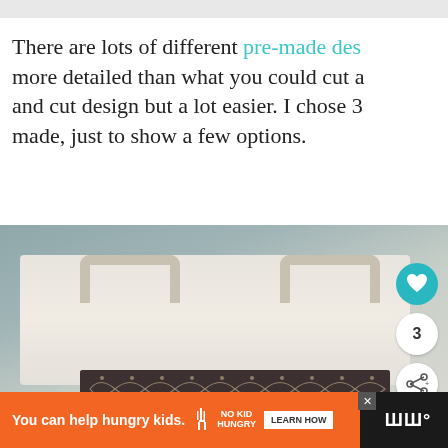There are lots of different pre-made designs that are more detailed than what you could cut at home with a cut and cut design but a lot easier. I chose 3 that I had made, just to show a few options.
[Figure (photo): Photo of a white canvas tote bag on a blue-grey background. The bag has two handles and a dark decorative patterned strip/label across the lower portion of the bag. A heart/favorite button (teal circle), a count of 3, and a share button appear on the right side overlay.]
You can help hungry kids. NO KID HUNGRY LEARN HOW